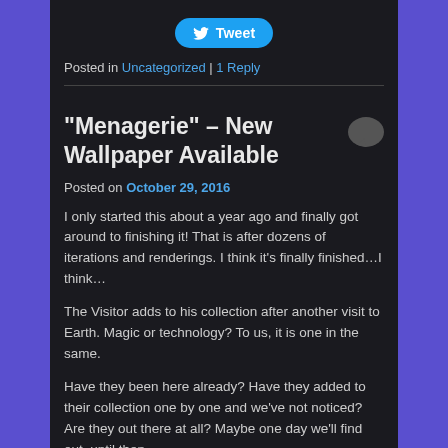[Figure (other): Twitter Tweet button with bird icon]
Posted in Uncategorized | 1 Reply
“Menagerie” – New Wallpaper Available
Posted on October 29, 2016
I only started this about a year ago and finally got around to finishing it!  That is after dozens of iterations and renderings.  I think it’s finally finished…I think…
The Visitor adds to his collection after another visit to Earth.  Magic or technology?  To us, it is one in the same.
Have they been here already?  Have they added to their collection one by one and we’ve not noticed?  Are they out there at all?  Maybe one day we’ll find out, until then,